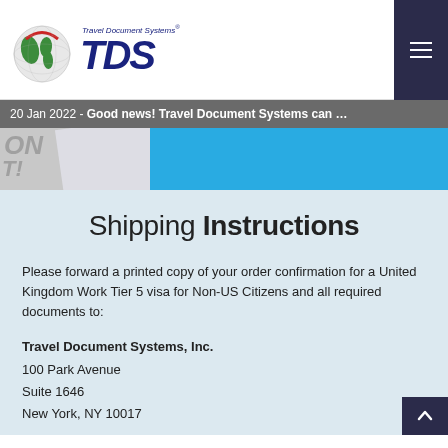[Figure (logo): Travel Document Systems TDS logo with globe graphic and stylized TDS wordmark]
20 Jan 2022 - Good news! Travel Document Systems can ...
[Figure (photo): Blue and grey banner image with partial text overlay reading ON and T!]
Shipping Instructions
Please forward a printed copy of your order confirmation for a United Kingdom Work Tier 5 visa for Non-US Citizens and all required documents to:
Travel Document Systems, Inc.
100 Park Avenue
Suite 1646
New York, NY 10017